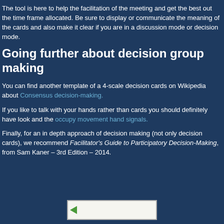The tool is here to help the facilitation of the meeting and get the best out the time frame allocated. Be sure to display or communicate the meaning of the cards and also make it clear if you are in a discussion mode or decision mode.
Going further about decision group making
You can find another template of a 4-scale decision cards on Wikipedia about Consensus decision-making.
If you like to talk with your hands rather than cards you should definitely have look and the occupy movement hand signals.
Finally, for an in depth approach of decision making (not only decision cards), we recommend Facilitator's Guide to Participatory Decision-Making, from Sam Kaner – 3rd Edition – 2014.
[Figure (photo): Book cover image thumbnail]